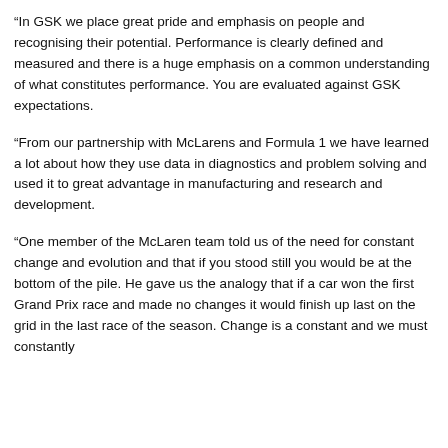“In GSK we place great pride and emphasis on people and recognising their potential. Performance is clearly defined and measured and there is a huge emphasis on a common understanding of what constitutes performance. You are evaluated against GSK expectations.
“From our partnership with McLarens and Formula 1 we have learned a lot about how they use data in diagnostics and problem solving and used it to great advantage in manufacturing and research and development.
“One member of the McLaren team told us of the need for constant change and evolution and that if you stood still you would be at the bottom of the pile. He gave us the analogy that if a car won the first Grand Prix race and made no changes it would finish up last on the grid in the last race of the season. Change is a constant and we must constantly